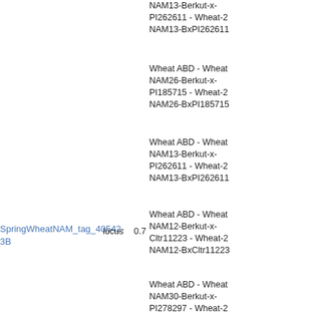NAM13-BerkutxPI262611 - Wheat-2 NAM13-BxPI262611
Wheat ABD - Wheat NAM26-Berkut-x-PI185715 - Wheat-2 NAM26-BxPI185715
Wheat ABD - Wheat NAM13-Berkut-x-PI262611 - Wheat-2 NAM13-BxPI262611
SpringWheatNAM_tag_40542-3B  locus  0.7
Wheat ABD - Wheat NAM12-Berkut-x-Cltr11223 - Wheat-2 NAM12-BxCltr11223
Wheat ABD - Wheat NAM30-Berkut-x-PI278297 - Wheat-2 NAM30-BxPI278297
SpringWheatNAM_tag_187401-3B  locus  0.7
No other positions
Wheat ABD - Wheat NAM20-Berkut-x-PI9 - Wheat-2018-NAM20-BxPI94567_3B
Wheat ABD - Wheat